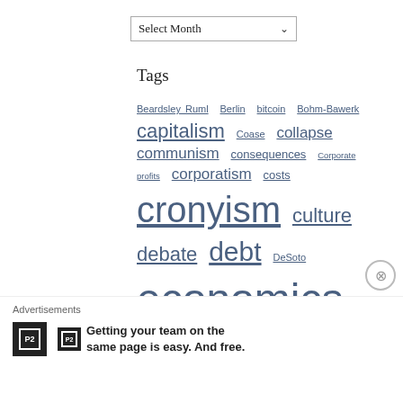[Figure (other): Select Month dropdown widget]
Tags
Beardsley Ruml Berlin bitcoin Bohm-Bawerk capitalism Coase collapse communism consequences Corporate profits corporatism costs cronyism culture debate debt DeSoto economics education Election elections elitism empire fallacy Federal reserve foreclosure freedom Free market Garry Reed Gingrich gold Hayek healthcare history human action hurricane incentives inflation intellectuals intervention interview Kelo Keynes
Advertisements
[Figure (logo): P2 advertisement logo and text: Getting your team on the same page is easy. And free.]